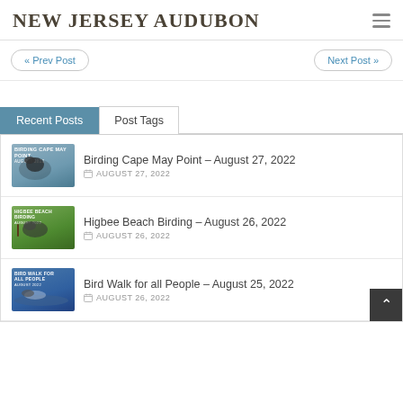NEW JERSEY AUDUBON
« Prev Post
Next Post »
Recent Posts
Post Tags
Birding Cape May Point – August 27, 2022
AUGUST 27, 2022
Higbee Beach Birding – August 26, 2022
AUGUST 26, 2022
Bird Walk for all People – August 25, 2022
AUGUST 26, 2022